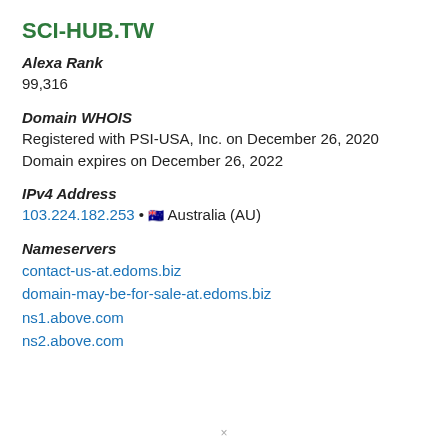SCI-HUB.TW
Alexa Rank
99,316
Domain WHOIS
Registered with PSI-USA, Inc. on December 26, 2020
Domain expires on December 26, 2022
IPv4 Address
103.224.182.253 • 🇦🇺 Australia (AU)
Nameservers
contact-us-at.edoms.biz
domain-may-be-for-sale-at.edoms.biz
ns1.above.com
ns2.above.com
×